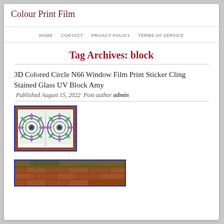Colour Print Film
HOME  CONTACT  PRIVACY POLICY  TERMS OF SERVICE
Tag Archives: block
3D Colored Circle N66 Window Film Print Sticker Cling Stained Glass UV Block Amy
Published August 15, 2022  Post author admin
[Figure (photo): Two window panels with decorative mandala stained glass film pattern in green and purple tones, displayed against a brick wall background]
[Figure (photo): Partial view of a brick wall with greenery, partially cut off at bottom of page]